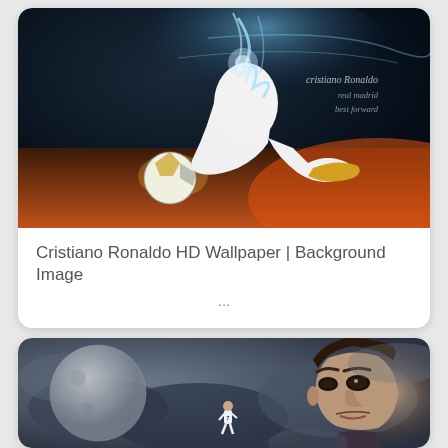[Figure (photo): Cristiano Ronaldo in white Real Madrid kit kicking a football, with glowing blue energy effects and orange/red ground lighting. Text overlay reads 'cristiano Ronaldo real madrid best forward']
Cristiano Ronaldo HD Wallpaper | Background Image
...
[Figure (photo): Cristiano Ronaldo composite image showing a small figure wearing number 7 white kit against a dramatic cloudy sky with a large moon, and a close-up of Ronaldo's face on the right side]